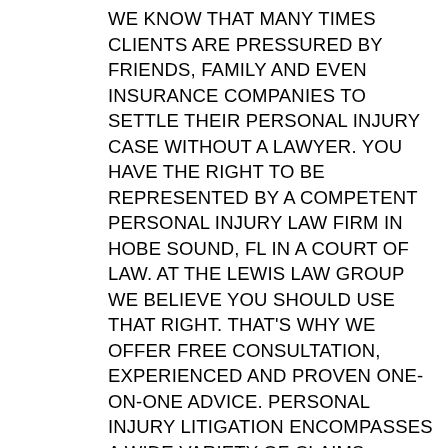WE KNOW THAT MANY TIMES CLIENTS ARE PRESSURED BY FRIENDS, FAMILY AND EVEN INSURANCE COMPANIES TO SETTLE THEIR PERSONAL INJURY CASE WITHOUT A LAWYER. YOU HAVE THE RIGHT TO BE REPRESENTED BY A COMPETENT PERSONAL INJURY LAW FIRM IN HOBE SOUND, FL IN A COURT OF LAW. AT THE LEWIS LAW GROUP WE BELIEVE YOU SHOULD USE THAT RIGHT. THAT'S WHY WE OFFER FREE CONSULTATION, EXPERIENCED AND PROVEN ONE-ON-ONE ADVICE. PERSONAL INJURY LITIGATION ENCOMPASSES A WIDE VARIETY OF CLAIMS INCLUDING ACCIDENTS INVOLVING SLIP AND FALL, MOTOR VEHICLES ACCIDENTS, BOAT ACCIDENTS, BICYCLE ACCIDENTS, ANIMAL BITES, MEDICAL MALPRACTICE, NURSING HOME AND ELDER ABUSE AND WRONGFUL DEATH. BEFORE SELECTING A PERSONAL INJURY LAW FIRM IN HOBE SOUND, FL , YOU MUST BE CONFIDENT IN THE REPUTATION AND EXPERTISE OF THE LAW FIRM MANAGING YOUR CASE. OUR ATTORNEYS ARE THOROUGHLY FAMILIAR WITH THE FEDERAL COURT SYSTEM AND THE COURT SYSTEMS IN ST. LUCIE COUNTY, PALM BEACH COUNTY AND MARTIN COUNTY AS WELL AS THE FIFTEENTH AND NINETEENTH DISTRICT COURTS. WE ARE RELENTLESS, AGGRESSIVE AND